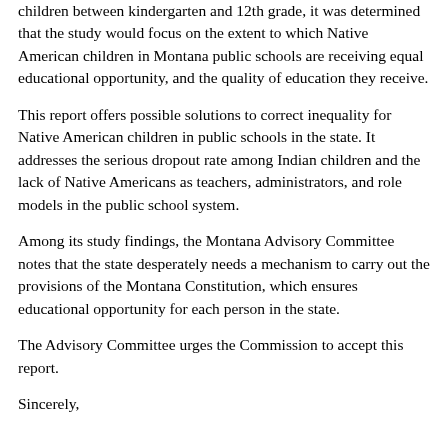children between kindergarten and 12th grade, it was determined that the study would focus on the extent to which Native American children in Montana public schools are receiving equal educational opportunity, and the quality of education they receive.
This report offers possible solutions to correct inequality for Native American children in public schools in the state. It addresses the serious dropout rate among Indian children and the lack of Native Americans as teachers, administrators, and role models in the public school system.
Among its study findings, the Montana Advisory Committee notes that the state desperately needs a mechanism to carry out the provisions of the Montana Constitution, which ensures educational opportunity for each person in the state.
The Advisory Committee urges the Commission to accept this report.
Sincerely,
Phillip Caldwell, Chairperson
Montana Advisory Committee